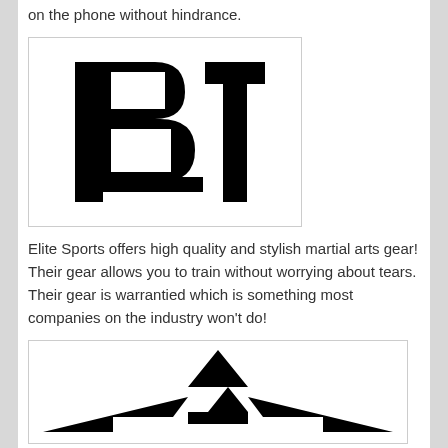on the phone without hindrance.
[Figure (logo): BT logo — bold black stylized letters B and T]
Elite Sports offers high quality and stylish martial arts gear! Their gear allows you to train without worrying about tears. Their gear is warrantied which is something most companies on the industry won't do!
[Figure (logo): Martial arts brand logo — black geometric bird/eagle shape]